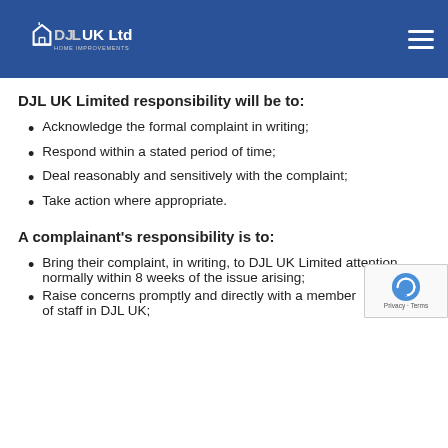DJL UK Ltd Home Improvements
DJL UK Limited responsibility will be to:
Acknowledge the formal complaint in writing;
Respond within a stated period of time;
Deal reasonably and sensitively with the complaint;
Take action where appropriate.
A complainant's responsibility is to:
Bring their complaint, in writing, to DJL UK Limited attention normally within 8 weeks of the issue arising;
Raise concerns promptly and directly with a member of staff in DJL UK;